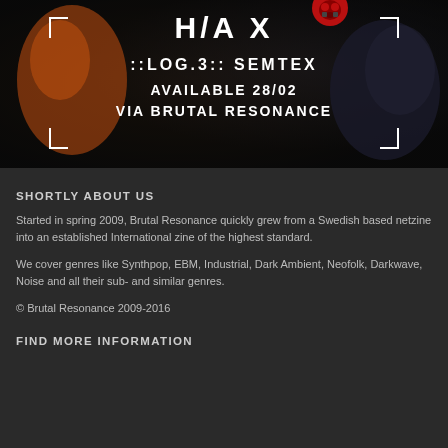[Figure (illustration): Dark album/release artwork for H/A X ::LOG.3:: SEMTEX, available 28/02 via Brutal Resonance. White text on dark background with orange and red design elements including a gas mask icon.]
SHORTLY ABOUT US
Started in spring 2009, Brutal Resonance quickly grew from a Swedish based netzine into an established International zine of the highest standard.
We cover genres like Synthpop, EBM, Industrial, Dark Ambient, Neofolk, Darkwave, Noise and all their sub- and similar genres.
© Brutal Resonance 2009-2016
FIND MORE INFORMATION